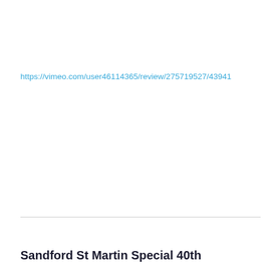https://vimeo.com/user46114365/review/275719527/43941
Sandford St Martin Special 40th